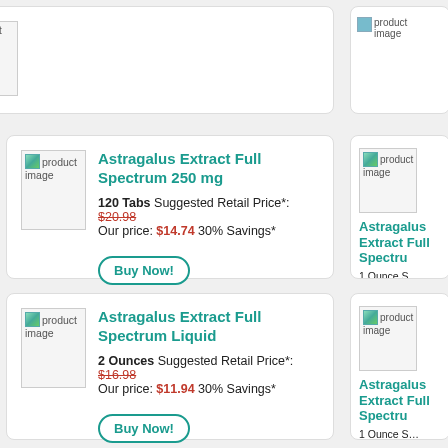[Figure (photo): Partial product image placeholder top-left card]
[Figure (photo): Partial product image placeholder top-right card]
[Figure (photo): Product image placeholder - green leaf icon]
Astragalus Extract Full Spectrum 250 mg
120 Tabs Suggested Retail Price*: $20.98 Our price: $14.74 30% Savings*
Buy Now!
[Figure (photo): Product image placeholder - green leaf icon right card]
Astragalus Extract Full Spectrum
1 Ounce Suggested Retail Price*: Our price:
Buy Now!
[Figure (photo): Product image placeholder - green leaf icon]
Astragalus Extract Full Spectrum Liquid
2 Ounces Suggested Retail Price*: $16.98 Our price: $11.94 30% Savings*
Buy Now!
[Figure (photo): Product image placeholder - green leaf icon right card]
Astragalus Extract Full Spectrum
1 Ounce Suggested Retail Price*: Our price:
Buy Now!